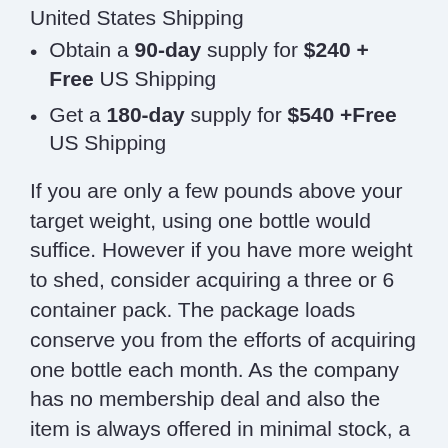United States Shipping
Obtain a 90-day supply for $240 + Free US Shipping
Get a 180-day supply for $540 +Free US Shipping
If you are only a few pounds above your target weight, using one bottle would suffice. However if you have more weight to shed, consider acquiring a three or 6 container pack. The package loads conserve you from the efforts of acquiring one bottle each month. As the company has no membership deal and also the item is always offered in minimal stock, a package pack is most definitely a better choice.
To put your orders for LeanBiome tablets today